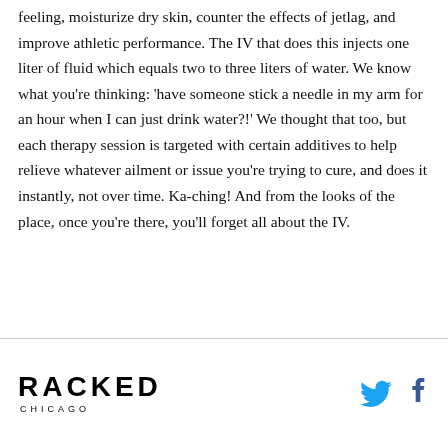feeling, moisturize dry skin, counter the effects of jetlag, and improve athletic performance. The IV that does this injects one liter of fluid which equals two to three liters of water. We know what you're thinking: 'have someone stick a needle in my arm for an hour when I can just drink water?!' We thought that too, but each therapy session is targeted with certain additives to help relieve whatever ailment or issue you're trying to cure, and does it instantly, not over time. Ka-ching! And from the looks of the place, once you're there, you'll forget all about the IV.
RACKED CHICAGO